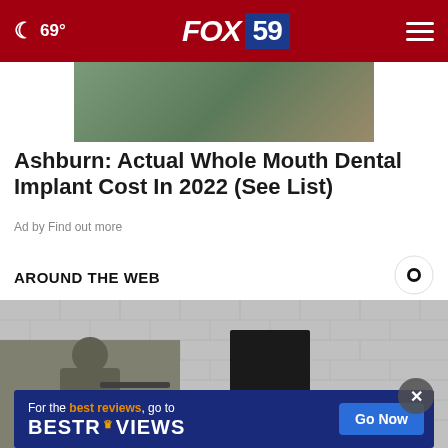69° FOX 59
[Figure (photo): Partial ad image strip showing a nature/building background]
Ashburn: Actual Whole Mouth Dental Implant Cost In 2022 (See List)
Ad by Find out more
AROUND THE WEB
[Figure (logo): Taboola logo - circular icon with green and white]
[Figure (photo): Soldier in military gear aiming rifle at a brick building with open door]
[Figure (screenshot): BestReviews advertisement banner: 'For the best reviews, go to BESTREVIEWS' with Go Now button]